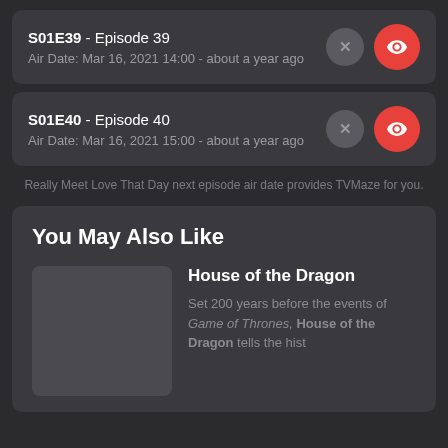S01E39 - Episode 39
Air Date: Mar 16, 2021 14:00 - about a year ago
S01E40 - Episode 40
Air Date: Mar 16, 2021 15:00 - about a year ago
Really Meet Love That Day next episode air date provides TVMaze for you.
You May Also Like
House of the Dragon
Set 200 years before the events of Game of Thrones, House of the Dragon tells the hist